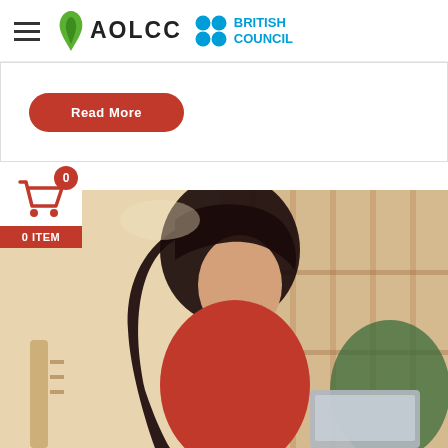[Figure (logo): AOLCC and British Council logos with hamburger menu icon in header]
[Figure (screenshot): Red 'Read More' rounded button on white card strip]
[Figure (infographic): Red shopping cart icon with badge showing '0' and label '0 ITEM']
[Figure (photo): Young woman with dark hair wearing red top, smiling and looking at a laptop, seated in a library/cafe setting with blurred bookshelves in background]